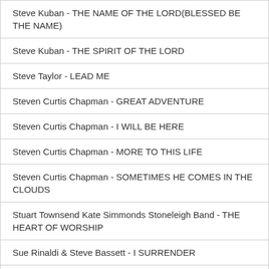Steve Kuban - THE NAME OF THE LORD(BLESSED BE THE NAME)
Steve Kuban - THE SPIRIT OF THE LORD
Steve Taylor - LEAD ME
Steven Curtis Chapman - GREAT ADVENTURE
Steven Curtis Chapman - I WILL BE HERE
Steven Curtis Chapman - MORE TO THIS LIFE
Steven Curtis Chapman - SOMETIMES HE COMES IN THE CLOUDS
Stuart Townsend Kate Simmonds Stoneleigh Band - THE HEART OF WORSHIP
Sue Rinaldi & Steve Bassett - I SURRENDER
Sunny Conde - MAGPAKAILAN MAN
Tori DeSario - OPEN OUR EYES